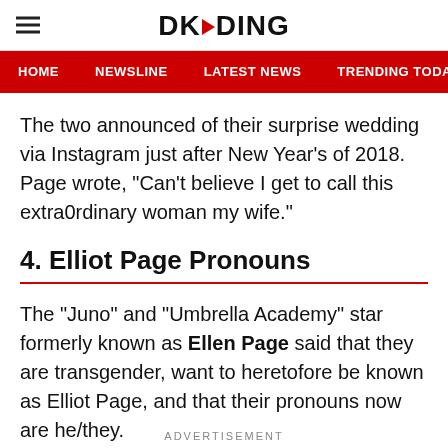DKODING
HOME  NEWSLINE  LATEST NEWS  TRENDING TODAY  ENT
The two announced of their surprise wedding via Instagram just after New Year’s of 2018. Page wrote, “Can’t believe I get to call this extra0rdinary woman my wife.”
4. Elliot Page Pronouns
The “Juno” and “Umbrella Academy” star formerly known as Ellen Page said that they are transgender, want to heretofore be known as Elliot Page, and that their pronouns now are he/they.
ADVERTISEMENT